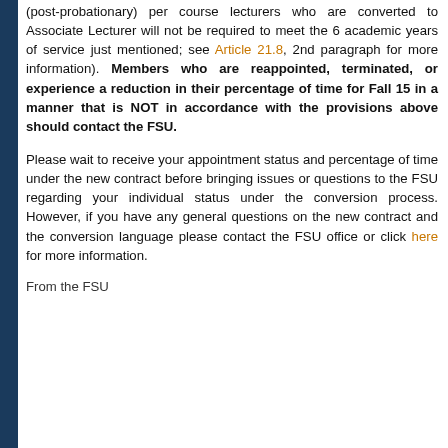(post-probationary) per course lecturers who are converted to Associate Lecturer will not be required to meet the 6 academic years of service just mentioned; see Article 21.8, 2nd paragraph for more information). Members who are reappointed, terminated, or experience a reduction in their percentage of time for Fall 15 in a manner that is NOT in accordance with the provisions above should contact the FSU.
Please wait to receive your appointment status and percentage of time under the new contract before bringing issues or questions to the FSU regarding your individual status under the conversion process. However, if you have any general questions on the new contract and the conversion language please contact the FSU office or click here for more information.
From the FSU